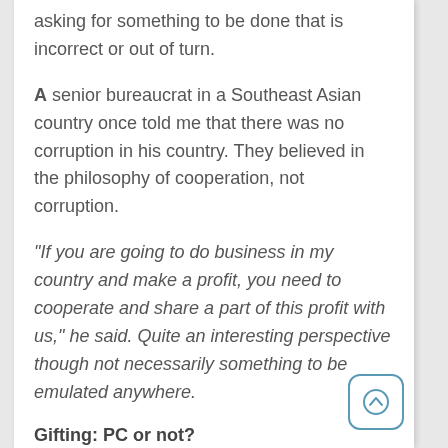asking for something to be done that is incorrect or out of turn.
A senior bureaucrat in a Southeast Asian country once told me that there was no corruption in his country. They believed in the philosophy of cooperation, not corruption.
“If you are going to do business in my country and make a profit, you need to cooperate and share a part of this profit with us,” he said. Quite an interesting perspective though not necessarily something to be emulated anywhere.
Gifting: PC or not?